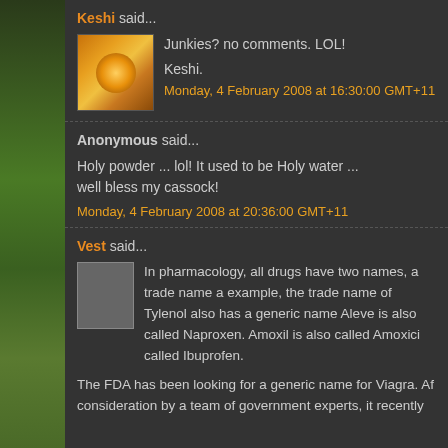Keshi said...
Junkies? no comments. LOL!
Keshi.
Monday, 4 February 2008 at 16:30:00 GMT+11
Anonymous said...
Holy powder ... lol! It used to be Holy water ... well bless my cassock!
Monday, 4 February 2008 at 20:36:00 GMT+11
Vest said...
In pharmacology, all drugs have two names, a trade name a example, the trade name of Tylenol also has a generic name Aleve is also called Naproxen. Amoxil is also called Amoxici called Ibuprofen.
The FDA has been looking for a generic name for Viagra. Af consideration by a team of government experts, it recently